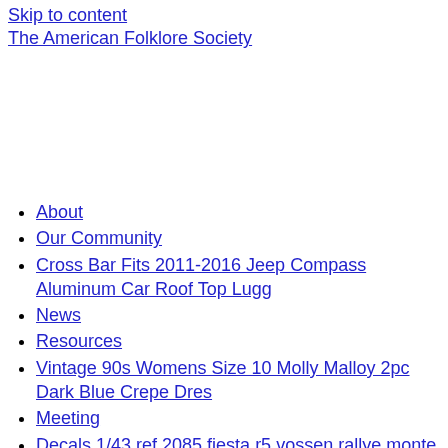Skip to content
The American Folklore Society
About
Our Community
Cross Bar Fits 2011-2016 Jeep Compass Aluminum Car Roof Top Lugg
News
Resources
Vintage 90s Womens Size 10 Molly Malloy 2pc Dark Blue Crepe Dres
Meeting
Decals 1/43 ref 2085 fiesta r5 vossen rallye monte carlo 2020 wr
Jobs